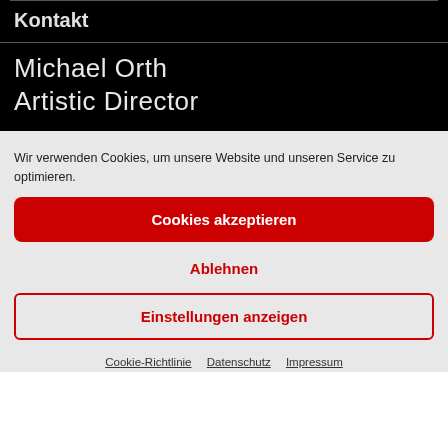Kontakt
Michael Orth
Artistic Director
Wir verwenden Cookies, um unsere Website und unseren Service zu optimieren.
Cookies akzeptieren
Ablehnen
Einstellungen anzeigen
Cookie-Richtlinie  Datenschutz  Impressum